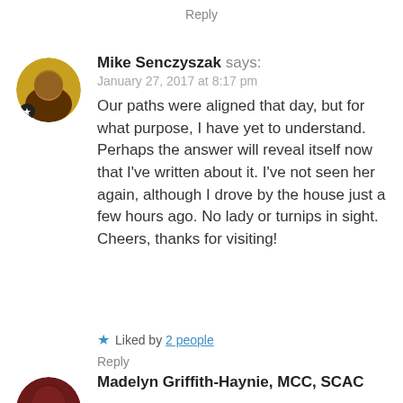Reply
[Figure (photo): Circular avatar of Mike Senczyszak — a person photographed in warm yellow/brown tones, with a small star icon badge on the left.]
Mike Senczyszak says:
January 27, 2017 at 8:17 pm
Our paths were aligned that day, but for what purpose, I have yet to understand. Perhaps the answer will reveal itself now that I've written about it. I've not seen her again, although I drove by the house just a few hours ago. No lady or turnips in sight. Cheers, thanks for visiting!
★ Liked by 2 people
Reply
[Figure (photo): Circular avatar of Madelyn Griffith-Haynie, MCC, SCAC — partial view, dark red/maroon tones, person visible from top of head.]
Madelyn Griffith-Haynie, MCC, SCAC